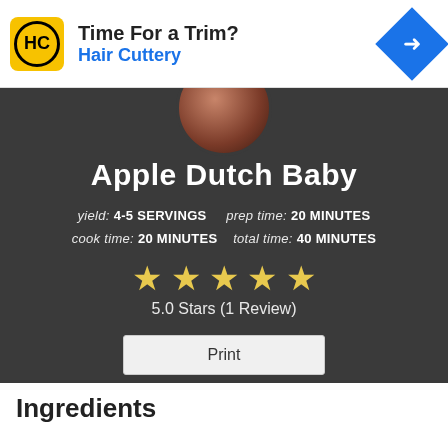[Figure (other): Hair Cuttery advertisement banner with yellow logo, 'Time For a Trim?' headline, 'Hair Cuttery' subtitle in blue, and blue diamond arrow icon]
[Figure (photo): Circular cropped food photo of Apple Dutch Baby in a pan]
Apple Dutch Baby
yield: 4-5 SERVINGS   prep time: 20 MINUTES
cook time: 20 MINUTES   total time: 40 MINUTES
[Figure (other): 5 gold star rating icons]
5.0 Stars (1 Review)
Print
Ingredients